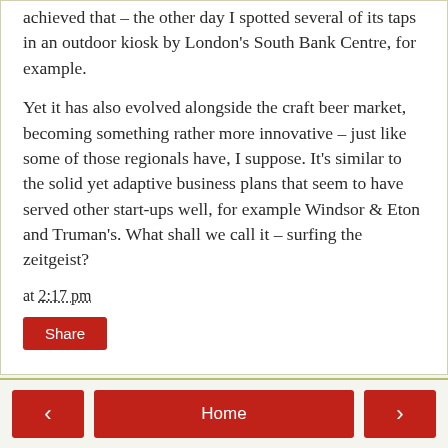achieved that – the other day I spotted several of its taps in an outdoor kiosk by London's South Bank Centre, for example.
Yet it has also evolved alongside the craft beer market, becoming something rather more innovative – just like some of those regionals have, I suppose. It's similar to the solid yet adaptive business plans that seem to have served other start-ups well, for example Windsor & Eton and Truman's. What shall we call it – surfing the zeitgeist?
at 2:17 pm
Share
No comments:
Post a Comment
< Home >